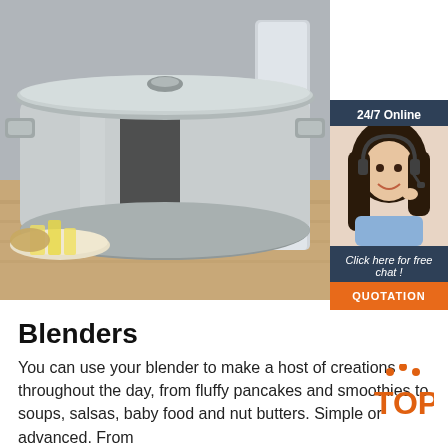[Figure (photo): Large stainless steel stockpot with glass lid and handles on a wooden surface, with other kitchen equipment and food ingredients in background]
[Figure (infographic): 24/7 Online chat widget with a customer service woman wearing a headset, dark blue background, text 'Click here for free chat!' and orange QUOTATION button]
Blenders
You can use your blender to make a host of creations throughout the day, from fluffy pancakes and smoothies to soups, salsas, baby food and nut butters. Simple or advanced. From
[Figure (logo): Orange TOP logo with dots above the letters]